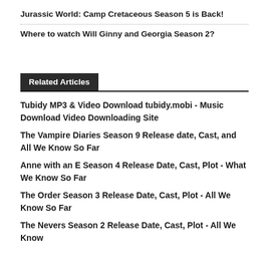Jurassic World: Camp Cretaceous Season 5 is Back!
Where to watch Will Ginny and Georgia Season 2?
Related Articles
Tubidy MP3 & Video Download tubidy.mobi - Music Download Video Downloading Site
The Vampire Diaries Season 9 Release date, Cast, and All We Know So Far
Anne with an E Season 4 Release Date, Cast, Plot - What We Know So Far
The Order Season 3 Release Date, Cast, Plot - All We Know So Far
The Nevers Season 2 Release Date, Cast, Plot - All We Know